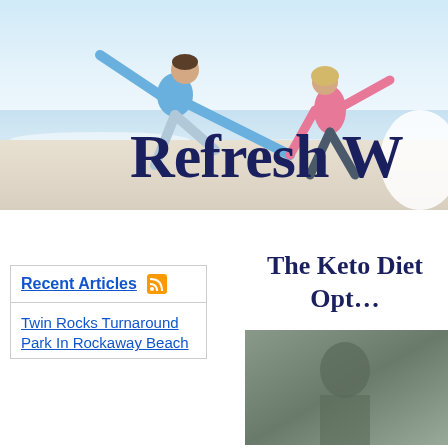[Figure (photo): Header banner with a couple on a beach — man in blue top leaning back, woman in pink jacket, both smiling and holding hands. Partial title text 'Refresh W' visible in large dark blue serif font overlay.]
Refresh W
Recent Articles
Twin Rocks Turnaround Park In Rockaway Beach
The Keto Diet Opt…
[Figure (photo): Partial thumbnail image at the bottom right, appears to show a person, darkened/blurred.]